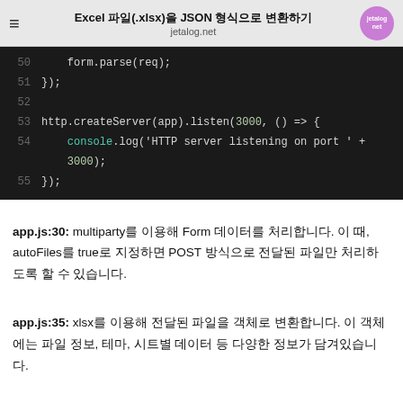Excel 파일(.xlsx)을 JSON 형식으로 변환하기 / jetalog.net
[Figure (screenshot): Code editor screenshot showing lines 50-55 of JavaScript code: form.parse(req); }); blank line, http.createServer(app).listen(3000, () => { console.log('HTTP server listening on port ' + 3000); });]
app.js:30: multiparty를 이용해 Form 데이터를 처리합니다. 이 때, autoFiles를 true로 지정하면 POST 방식으로 전달된 파일만 처리하도록 할 수 있습니다.
app.js:35: xlsx를 이용해 전달된 파일을 객체로 변환합니다. 이 객체에는 파일 정보, 테마, 시트별 데이터 등 다양한 정보가 담겨있습니다.
app.js:40~43: 시트별 내용을 결과 객체에 담습니다. 이 때